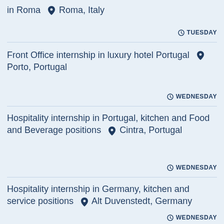in Roma  📍 Roma, Italy
TUESDAY
Front Office internship in luxury hotel Portugal  📍 Porto, Portugal
WEDNESDAY
Hospitality internship in Portugal, kitchen and Food and Beverage positions  📍 Cintra, Portugal
WEDNESDAY
Hospitality internship in Germany, kitchen and service positions  📍 Alt Duvenstedt, Germany
WEDNESDAY